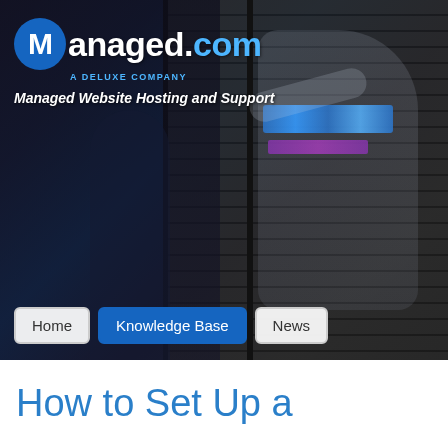[Figure (photo): Hero banner image of a man in a white dress shirt working with server rack equipment in a dark data center. Multiple server racks visible with blue ethernet cables.]
Managed.com — A Deluxe Company
Managed Website Hosting and Support
Home | Knowledge Base | News
How to Set Up a